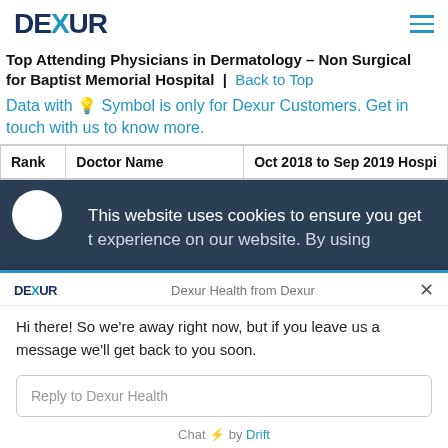DEXUR
Top Attending Physicians in Dermatology – Non Surgical for Baptist Memorial Hospital | Back to Top
Data with 💡 Symbol is only for Dexur Customers. Get in touch with us to know more.
| Rank | Doctor Name | Oct 2018 to Sep 2019 Hospi |
| --- | --- | --- |
This website uses cookies to ensure you get the best experience on our website. By using...
Dexur Health from Dexur
Hi there! So we're away right now, but if you leave us a message we'll get back to you soon.
Reply to Dexur Health
Chat ⚡ by Drift